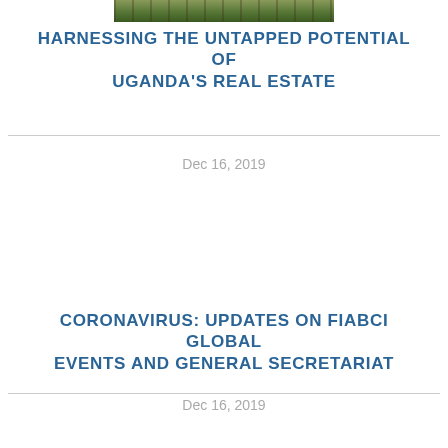[Figure (photo): Thumbnail photo strip showing trees or vegetation in an outdoor setting]
HARNESSING THE UNTAPPED POTENTIAL OF UGANDA'S REAL ESTATE
Dec 16, 2019
CORONAVIRUS: UPDATES ON FIABCI GLOBAL EVENTS AND GENERAL SECRETARIAT
Dec 16, 2019